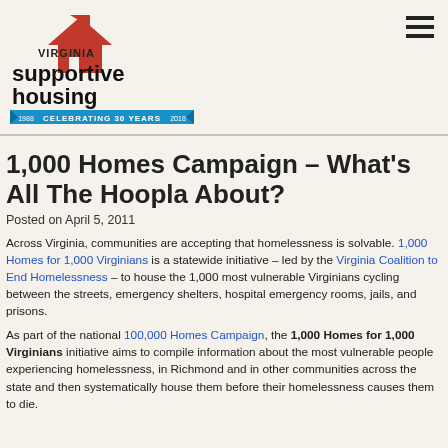Virginia Supportive Housing — Celebrating 30 Years (1988–2018)
1,000 Homes Campaign – What's All The Hoopla About?
Posted on April 5, 2011
Across Virginia, communities are accepting that homelessness is solvable. 1,000 Homes for 1,000 Virginians is a statewide initiative – led by the Virginia Coalition to End Homelessness – to house the 1,000 most vulnerable Virginians cycling between the streets, emergency shelters, hospital emergency rooms, jails, and prisons.
As part of the national 100,000 Homes Campaign, the 1,000 Homes for 1,000 Virginians initiative aims to compile information about the most vulnerable people experiencing homelessness, in Richmond and in other communities across the state and then systematically house them before their homelessness causes them to die.